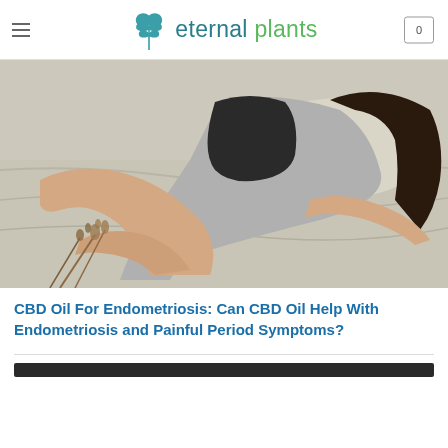eternal plants
[Figure (photo): A woman lying on a bed in pain, curled up on her side on grey/white linen bedding, with dried herbs/flowers visible in the lower left corner.]
CBD Oil For Endometriosis: Can CBD Oil Help With Endometriosis and Painful Period Symptoms?